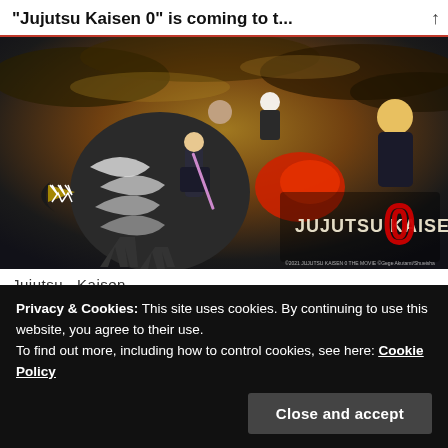"Jujutsu Kaisen 0" is coming to t...
[Figure (illustration): Jujutsu Kaisen 0 movie promotional art showing anime characters in battle, with the Jujutsu Kaisen logo and a large red 0 on the right side. Dark dramatic background with monsters and fighters.]
Jujutsu   Kaisen
Privacy & Cookies: This site uses cookies. By continuing to use this website, you agree to their use.
To find out more, including how to control cookies, see here: Cookie Policy
Close and accept
Jujutsu Kaisen 0 movie will be based on the